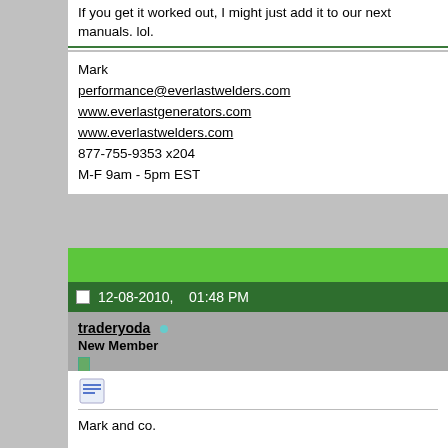If you get it worked out, I might just add it to our next manuals. lol.
Mark
performance@everlastwelders.com
www.everlastgenerators.com
www.everlastwelders.com
877-755-9353 x204
M-F 9am - 5pm EST
12-08-2010,   01:48 PM
traderyoda
New Member
Mark and co.

I've incorporated the comments received so far (see below). Feel free if you want the source file just let me know.

Now... if you could just find someone who knows how to write to fix we'd all be better off. Some of the stuff in the manual I received wit